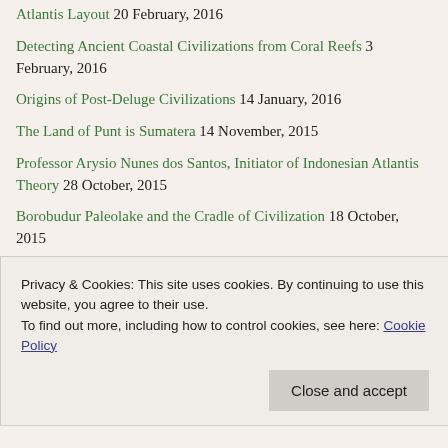Atlantis Layout 20 February, 2016
Detecting Ancient Coastal Civilizations from Coral Reefs 3 February, 2016
Origins of Post-Deluge Civilizations 14 January, 2016
The Land of Punt is Sumatera 14 November, 2015
Professor Arysio Nunes dos Santos, Initiator of Indonesian Atlantis Theory 28 October, 2015
Borobudur Paleolake and the Cradle of Civilization 18 October, 2015
Sundaland 29 September, 2015
Taprobana is not Sri Lanka nor Sumatera, but Kalimantan 26
Privacy & Cookies: This site uses cookies. By continuing to use this website, you agree to their use. To find out more, including how to control cookies, see here: Cookie Policy